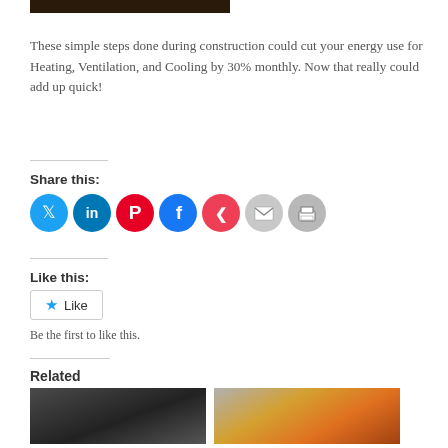[Figure (photo): Top portion of a photo (partially cropped at top), dark tones]
These simple steps done during construction could cut your energy use for Heating, Ventilation, and Cooling by 30% monthly. Now that really could add up quick!
Share this:
[Figure (infographic): Row of social share icon buttons: Twitter (blue), LinkedIn (dark blue), Pinterest (red), Facebook (blue), Pocket (red), Email (grey), Print (grey)]
Like this:
[Figure (other): Like button widget with star icon and 'Like' text]
Be the first to like this.
Related
[Figure (photo): Two related article thumbnail images side by side]
Related article thumbnails